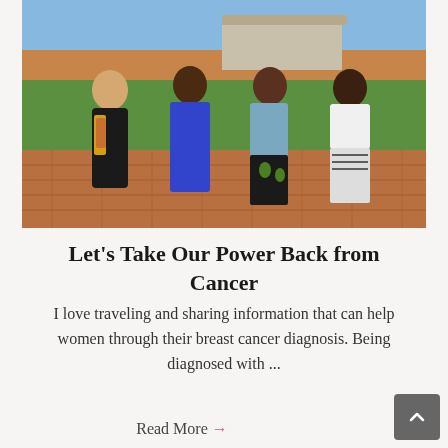[Figure (photo): Four women standing together outdoors on a brick patio with green lawn and trees in background. One woman in black outfit with a yellow scarf, one in blue scrubs, one in blue top with floral pants, and one in white top with patterned skirt. All wearing lanyards/badges.]
Let's Take Our Power Back from Cancer
I love traveling and sharing information that can help women through their breast cancer diagnosis. Being diagnosed with ...
Read More →